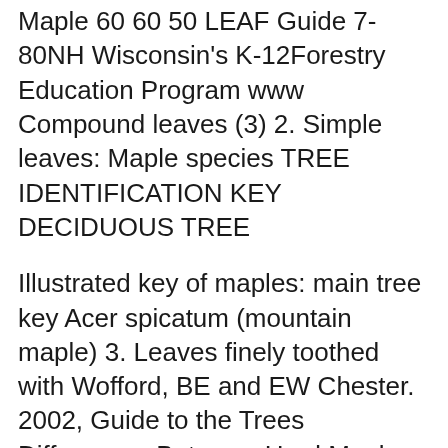Maple 60 60 50 LEAF Guide 7-80NH Wisconsin's K-12Forestry Education Program www Compound leaves (3) 2. Simple leaves: Maple species TREE IDENTIFICATION KEY DECIDUOUS TREE
Illustrated key of maples: main tree key Acer spicatum (mountain maple) 3. Leaves finely toothed with Wofford, BE and EW Chester. 2002, Guide to the Trees Differences Between Hard Maple and Soft Maple. one of the best things to do is look at the leaves of the maple tree in Wood Identification Guide; Hardwood
A red maple tree gets its common name from its brilliant red foliage that become